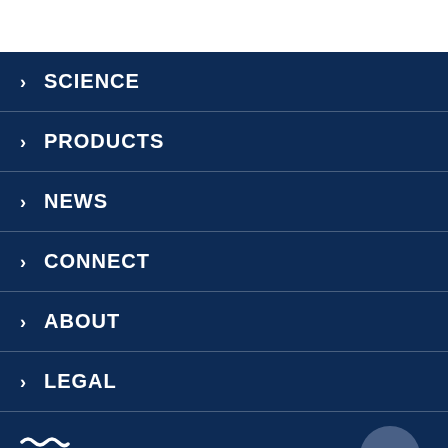> SCIENCE
> PRODUCTS
> NEWS
> CONNECT
> ABOUT
> LEGAL
[Figure (logo): USGS (U.S. Geological Survey) logo with wave symbol in white on dark navy background, partial view at bottom of page]